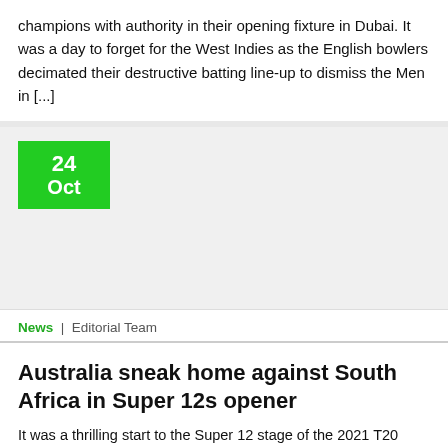champions with authority in their opening fixture in Dubai. It was a day to forget for the West Indies as the English bowlers decimated their destructive batting line-up to dismiss the Men in [...]
24 Oct
News  |  Editorial Team
Australia sneak home against South Africa in Super 12s opener
It was a thrilling start to the Super 12 stage of the 2021 T20 World Cup as Australia edged past South Africa in a low-scoring nail-biter at Abu Dhabi. The Proteas fought hard with the ball in their defence of